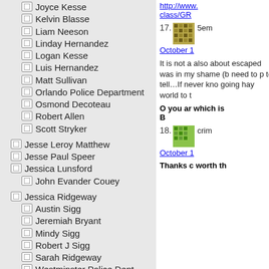Joyce Kesse
Kelvin Blasse
Liam Neeson
Linday Hernandez
Logan Kesse
Luis Hernandez
Matt Sullivan
Orlando Police Department
Osmond Decoteau
Robert Allen
Scott Stryker
Jesse Leroy Matthew
Jesse Paul Speer
Jessica Lunsford
John Evander Couey
Jessica Ridgeway
Austin Sigg
Jeremiah Bryant
Mindy Sigg
Robert J Sigg
Sarah Ridgeway
Westminster Police Dept
Jo Ann Jodi Bain
Adam Mayes
Alexandria Bain
Kyliyah Bain
http://www. class/GR
17. 5em October 1
It is not a also about escaped was in my shame (b need to p to tell…If never kno going hay world to t
O you ar which is B
18. crim October 1
Thanks c worth th